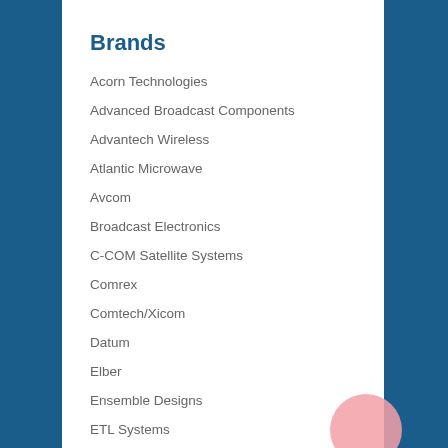Brands
Acorn Technologies
Advanced Broadcast Components
Advantech Wireless
Atlantic Microwave
Avcom
Broadcast Electronics
C-COM Satellite Systems
Comrex
Comtech/Xicom
Datum
Elber
Ensemble Designs
ETL Systems
IDC
Newtec